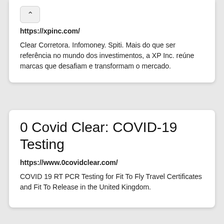https://xpinc.com/
Clear Corretora. Infomoney. Spiti. Mais do que ser referência no mundo dos investimentos, a XP Inc. reúne marcas que desafiam e transformam o mercado.
0 Covid Clear: COVID-19 Testing
https://www.0covidclear.com/
COVID 19 RT PCR Testing for Fit To Fly Travel Certificates and Fit To Release in the United Kingdom.